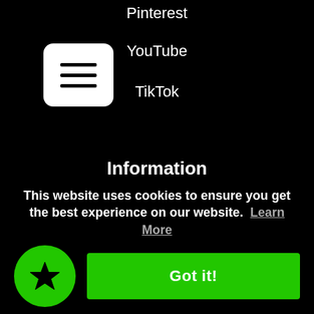[Figure (screenshot): Hamburger menu icon button — white rounded square with three black horizontal lines]
Pinterest
YouTube
TikTok
Information
Search
Shipping
Policies
About
This website uses cookies to ensure you get the best experience on our website. Learn More
Got it!